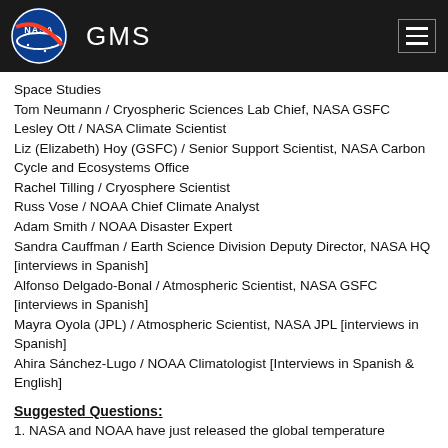GMS
Space Studies
Tom Neumann / Cryospheric Sciences Lab Chief, NASA GSFC
Lesley Ott / NASA Climate Scientist
Liz (Elizabeth) Hoy (GSFC) / Senior Support Scientist, NASA Carbon Cycle and Ecosystems Office
Rachel Tilling / Cryosphere Scientist
Russ Vose / NOAA Chief Climate Analyst
Adam Smith / NOAA Disaster Expert
Sandra Cauffman / Earth Science Division Deputy Director, NASA HQ [interviews in Spanish]
Alfonso Delgado-Bonal / Atmospheric Scientist, NASA GSFC [interviews in Spanish]
Mayra Oyola (JPL) / Atmospheric Scientist, NASA JPL [interviews in Spanish]
Ahira Sánchez-Lugo / NOAA Climatologist [Interviews in Spanish & English]
Suggested Questions:
1. NASA and NOAA have just released the global temperature